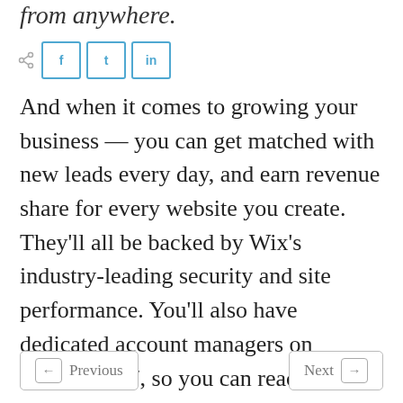from anywhere.
[Figure (infographic): Social share bar with share icon, Facebook (f), Twitter (t), and LinkedIn (in) buttons]
And when it comes to growing your business — you can get matched with new leads every day, and earn revenue share for every website you create. They'll all be backed by Wix's industry-leading security and site performance. You'll also have dedicated account managers on standby 24/7, so you can reach your goals and start setting new ones. Head over to Wix.com/Partners and reimagine what your agency can accomplish.
← Previous    Next →